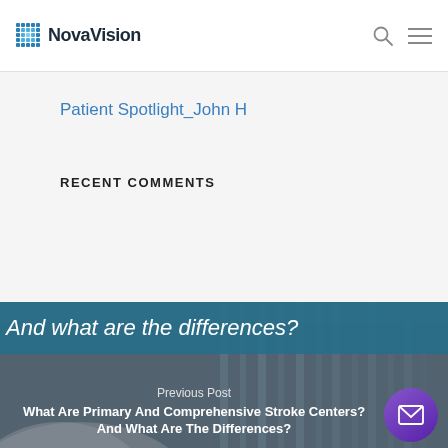NovaVision
Patient Spotlight_John H
RECENT COMMENTS
And what are the differences?
Previous Post
What Are Primary And Comprehensive Stroke Centers? And What Are The Differences?